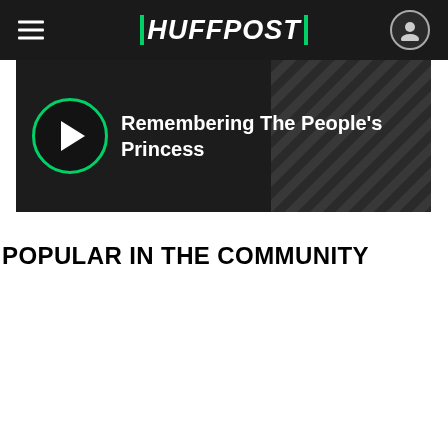HUFFPOST
[Figure (screenshot): Video thumbnail with play button and text 'Remembering The People's Princess' on dark background with diagonal stripe pattern]
POPULAR IN THE COMMUNITY